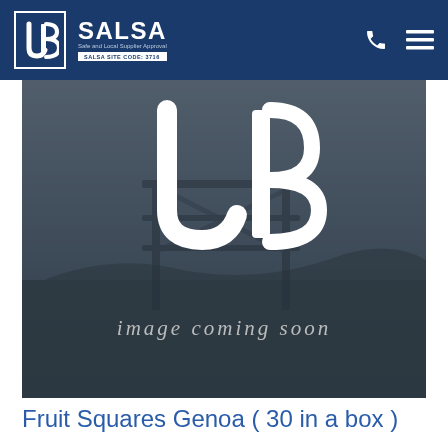JB | SALSA Safe and Local Supplier Approval | SALSA SITE CODE: 3716
[Figure (logo): Hero image placeholder showing JB logo watermark over a dark landscape background with text 'image coming soon']
Fruit Squares Genoa ( 30 in a box )